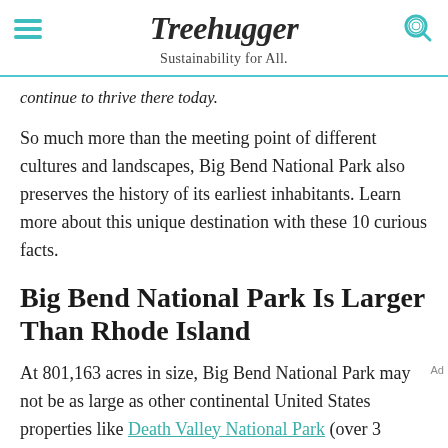Treehugger — Sustainability for All.
continue to thrive there today.
So much more than the meeting point of different cultures and landscapes, Big Bend National Park also preserves the history of its earliest inhabitants. Learn more about this unique destination with these 10 curious facts.
Big Bend National Park Is Larger Than Rhode Island
At 801,163 acres in size, Big Bend National Park may not be as large as other continental United States properties like Death Valley National Park (over 3 million acres) and Yellowstone National Park (over 2